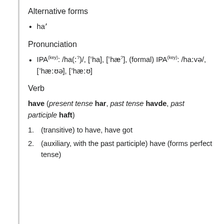Alternative forms
haʼ
Pronunciation
IPA(key): /ha(ː?)/, [ˈha], [ˈhæ?], (formal) IPA(key): /haːvə/, [ˈhæːʊə], [ˈhæːʊ]
Verb
have (present tense har, past tense havde, past participle haft)
(transitive) to have, have got
(auxiliary, with the past participle) have (forms perfect tense)